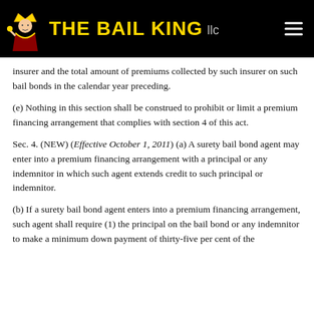THE BAIL KING llc
insurer and the total amount of premiums collected by such insurer on such bail bonds in the calendar year preceding.
(e) Nothing in this section shall be construed to prohibit or limit a premium financing arrangement that complies with section 4 of this act.
Sec. 4. (NEW) (Effective October 1, 2011) (a) A surety bail bond agent may enter into a premium financing arrangement with a principal or any indemnitor in which such agent extends credit to such principal or indemnitor.
(b) If a surety bail bond agent enters into a premium financing arrangement, such agent shall require (1) the principal on the bail bond or any indemnitor to make a minimum down payment of thirty-five per cent of the